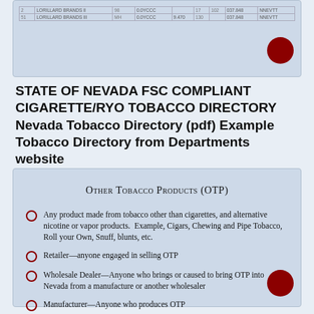[Figure (table-as-image): Partial table from Nevada FSC Compliant Cigarette directory, showing rows with blurred/illegible data]
STATE OF NEVADA FSC COMPLIANT CIGARETTE/RYO TOBACCO DIRECTORY Nevada Tobacco Directory (pdf) Example Tobacco Directory from Departments website
Other Tobacco Products (OTP)
Any product made from tobacco other than cigarettes, and alternative nicotine or vapor products. Example, Cigars, Chewing and Pipe Tobacco, Roll your Own, Snuff, blunts, etc.
Retailer—anyone engaged in selling OTP
Wholesale Dealer—Anyone who brings or caused to bring OTP into Nevada from a manufacture or another wholesaler
Manufacturer—Anyone who produces OTP